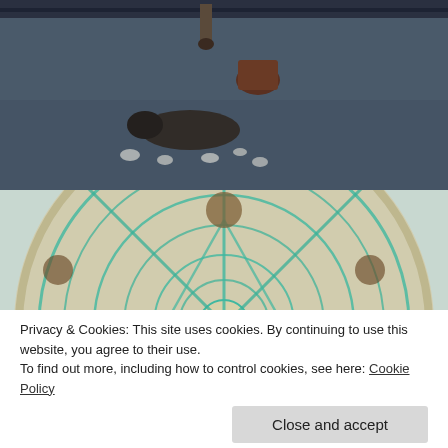[Figure (photo): Theater stage scene viewed from above: person standing near a basket, another figure lying on the floor, with white objects scattered around on a dark stage floor.]
[Figure (photo): Aerial view of a large intricate mandala artwork on the ground with teal/turquoise geometric star pattern and circular designs. A person in a blue shirt stands on it, viewed from above.]
Privacy & Cookies: This site uses cookies. By continuing to use this website, you agree to their use.
To find out more, including how to control cookies, see here: Cookie Policy
[Figure (photo): Partial bottom strip showing a person's head/hair against a teal background.]